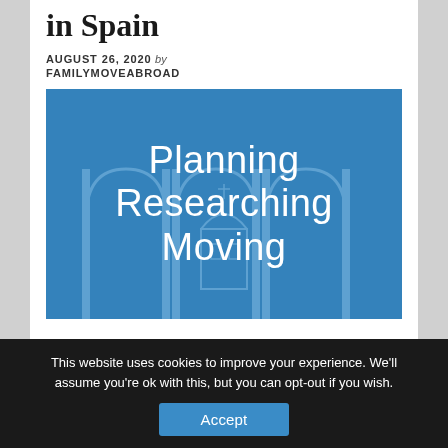in Spain
AUGUST 26, 2020 by FAMILYMOVEABROAD
[Figure (illustration): Blue banner image with text 'Planning Researching Moving' overlaid on a faded architectural background with arches]
This website uses cookies to improve your experience. We'll assume you're ok with this, but you can opt-out if you wish. Accept